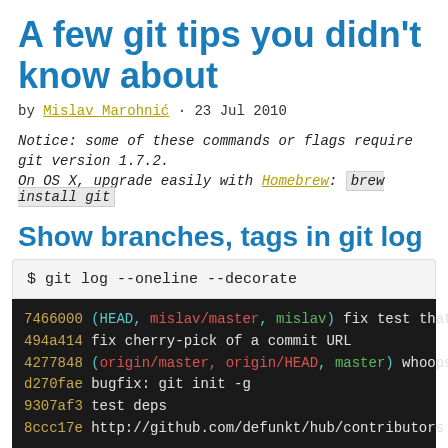A few git tips you didn't know about
by Mislav Marohnić · 23 Jul 2010
Notice: some of these commands or flags require git version 1.7.2.
On OS X, upgrade easily with Homebrew: brew install git
Show branches, tags in git log
$ git log --oneline --decorate
7466000 (HEAD, mislav/master, mislav) fix test that fa
494a414 fix cherry-pick of a commit URL
4277848 (origin/master, origin/HEAD, master) whoops
d270fae bugfix: git init -g
9307af3 test deps
8ccc17e http://github.com/defunkt/hub/contributors